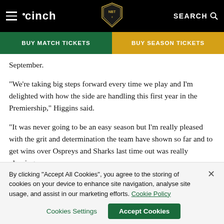cinch | BUY MATCH TICKETS | BUY SEASON TICKETS | SEARCH
September.
“We’re taking big steps forward every time we play and I’m delighted with how the side are handling this first year in the Premiership,” Higgins said.
“It was never going to be an easy season but I’m really pleased with the grit and determination the team have shown so far and to get wins over Ospreys and Sharks last time out was really pleasing.
By clicking “Accept All Cookies”, you agree to the storing of cookies on your device to enhance site navigation, analyse site usage, and assist in our marketing efforts. Cookie Policy